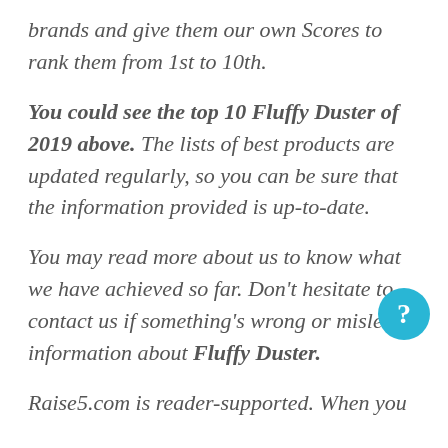brands and give them our own Scores to rank them from 1st to 10th.
You could see the top 10 Fluffy Duster of 2019 above. The lists of best products are updated regularly, so you can be sure that the information provided is up-to-date.
You may read more about us to know what we have achieved so far. Don't hesitate to contact us if something's wrong or mislead information about Fluffy Duster.
Raise5.com is reader-supported. When you